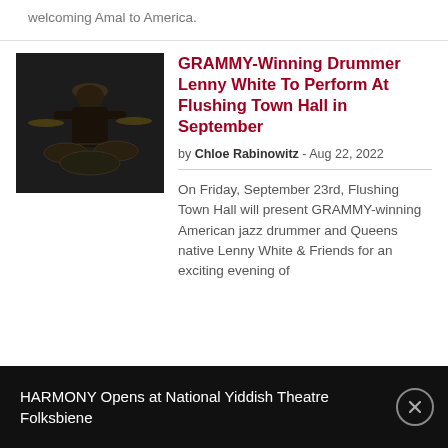welcoming Amal to America.
[Figure (photo): Black and white photo of a person, likely a drummer, partially visible against a dark background with drum equipment]
GRAMMY-Winning Drummer Lenny White To Perform At Flushing Town Hall in September
by Chloe Rabinowitz - Aug 22, 2022
On Friday, September 23rd, Flushing Town Hall will present GRAMMY-winning American jazz drummer and Queens native Lenny White & Friends for an exciting evening of
HARMONY Opens at National Yiddish Theatre Folksbiene